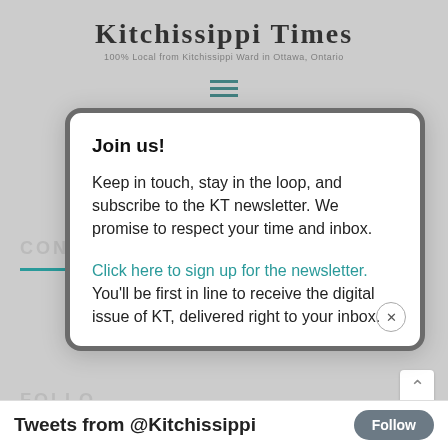KITCHISSIPPI TIMES
100% Local from Kitchissippi Ward in Ottawa, Ontario
[Figure (screenshot): Hamburger/navigation menu icon with three teal horizontal lines]
CONN
Join us!
Keep in touch, stay in the loop, and subscribe to the KT newsletter. We promise to respect your time and inbox.
Click here to sign up for the newsletter. You'll be first in line to receive the digital issue of KT, delivered right to your inbox.
FOLLO
Tweets from @Kitchissippi
Follow